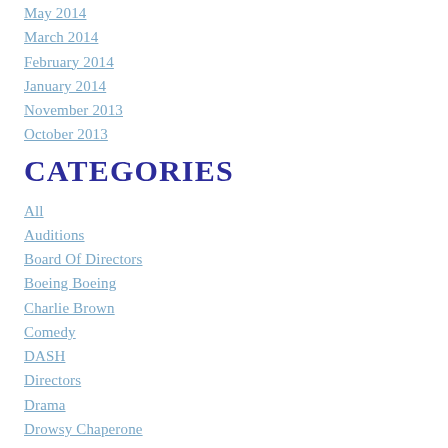May 2014
March 2014
February 2014
January 2014
November 2013
October 2013
CATEGORIES
All
Auditions
Board Of Directors
Boeing Boeing
Charlie Brown
Comedy
DASH
Directors
Drama
Drowsy Chaperone
Elections